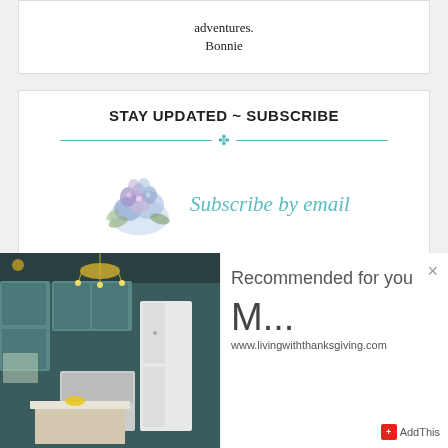adventures.
Bonnie
STAY UPDATED ~ SUBSCRIBE
[Figure (illustration): Decorative floral illustration with blue/purple hydrangeas and greenery]
Subscribe by email
Sign up with your email address to
[Figure (photo): Kitchen interior with teal/blue-green cabinets, crystal chandelier, white refrigerator, and island with white top]
Recommended for you
M...
www.livingwiththanksgiving.com
[Figure (logo): AddThis logo with red cross icon]